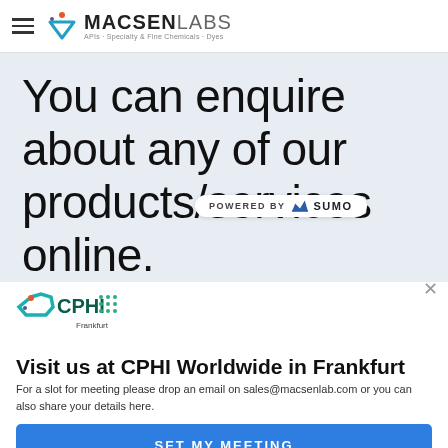MACSENLABS - APIs, Specialty & Fine Chemicals, Dyes
You can enquire about any of our products/services online.
[Figure (logo): POWERED BY SUMO badge]
[Figure (logo): CPHI Frankfurt logo]
Visit us at CPHI Worldwide in Frankfurt
For a slot for meeting please drop an email on sales@macsenlab.com or you can also share your details here.
SET MY MEETING